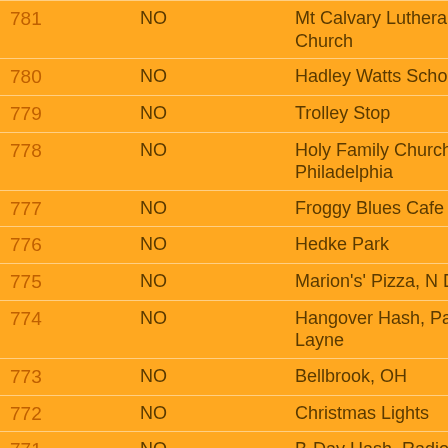| # | ? | Location | Code |
| --- | --- | --- | --- |
| 781 | NO | Mt Calvary Lutheran Church | DH3 |
| 780 | NO | Hadley Watts School | DH3 |
| 779 | NO | Trolley Stop | DH3 |
| 778 | NO | Holy Family Church, 5th & Philadelphia | DH3 |
| 777 | NO | Froggy Blues Cafe | DH3 |
| 776 | NO | Hedke Park | DH3 |
| 775 | NO | Marion's' Pizza, N Dixie | DH3 |
| 774 | NO | Hangover Hash, Park Layne | Hang |
| 773 | NO | Bellbrook, OH | DH3 |
| 772 | NO | Christmas Lights | DH3 |
| 771 | NO | B-Day Hash, Radio Rd | DH3 |
| 770 | NO | Home Depot | DH3 |